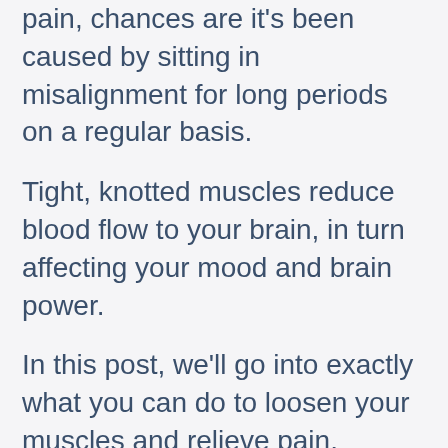pain, chances are it's been caused by sitting in misalignment for long periods on a regular basis.
Tight, knotted muscles reduce blood flow to your brain, in turn affecting your mood and brain power.
In this post, we'll go into exactly what you can do to loosen your muscles and relieve pain.
You'll learn simple myofascial release techniques and stretches that target your upper back so that you can counter the tension, protect your posture and feel better